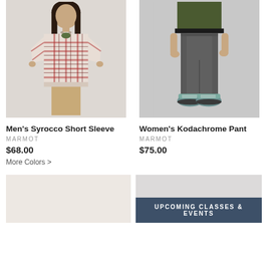[Figure (photo): Man wearing a red/white plaid short sleeve shirt with khaki pants]
[Figure (photo): Person wearing dark gray women's pants with teal hiking shoes, from waist down]
Men's Syrocco Short Sleeve
MARMOT
$68.00
More Colors >
Women's Kodachrome Pant
MARMOT
$75.00
[Figure (photo): Partial product image bottom left]
[Figure (photo): Partial product image bottom right]
UPCOMING CLASSES & EVENTS